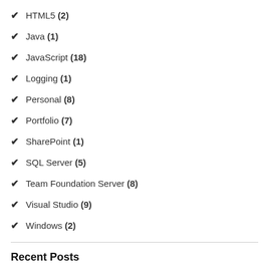HTML5 (2)
Java (1)
JavaScript (18)
Logging (1)
Personal (8)
Portfolio (7)
SharePoint (1)
SQL Server (5)
Team Foundation Server (8)
Visual Studio (9)
Windows (2)
Recent Posts
SPS Commerce REST API Standards Now Open Source